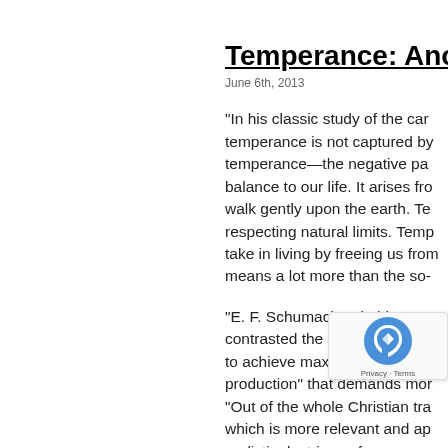Temperance: Anoth
June 6th, 2013
“In his classic study of the car… temperance is not captured by… temperance—the negative pa… balance to our life. It arises fr… walk gently upon the earth. Te… respecting natural limits. Temp… take in living by freeing us fro… means a lot more than the so-…
“E. F. Schumacher, in his mos… contrasted the consumerist wa… to achieve maximum well-bei… production” that demands mor… “Out of the whole Christian tra… which is more relevant and ap… realistic doctrines of… when “enough is en…
Excerpted from The Good Lif…